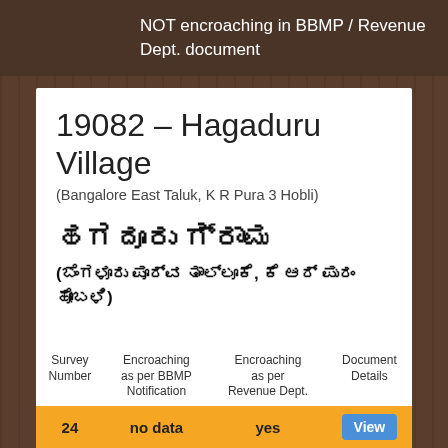NOT encroaching in BBMP / Revenue Dept. document
19082 – Hagaduru Village
(Bangalore East Taluk, K R Pura 3 Hobli)
ಹಗದೂರು ಗ್ರಾಮ
(ಬೆಂಗಳೂರು ಪೂರ್ವ ತಾಲ್ಲೂಕೆ, ಕೆ ಆರ್ ಪುರಂ ಹೋಬಳಿ)
| Survey Number | Encroaching as per BBMP Notification | Encroaching as per Revenue Dept. | Document Details |
| --- | --- | --- | --- |
| 24 | no data | yes | View |